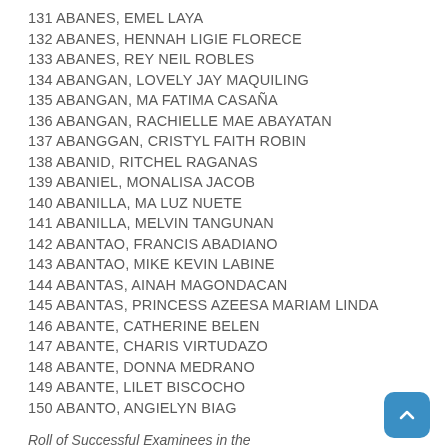131 ABANES, EMEL LAYA
132 ABANES, HENNAH LIGIE FLORECE
133 ABANES, REY NEIL ROBLES
134 ABANGAN, LOVELY JAY MAQUILING
135 ABANGAN, MA FATIMA CASAÑA
136 ABANGAN, RACHIELLE MAE ABAYATAN
137 ABANGGAN, CRISTYL FAITH ROBIN
138 ABANID, RITCHEL RAGANAS
139 ABANIEL, MONALISA JACOB
140 ABANILLA, MA LUZ NUETE
141 ABANILLA, MELVIN TANGUNAN
142 ABANTAO, FRANCIS ABADIANO
143 ABANTAO, MIKE KEVIN LABINE
144 ABANTAS, AINAH MAGONDACAN
145 ABANTAS, PRINCESS AZEESA MARIAM LINDA
146 ABANTE, CATHERINE BELEN
147 ABANTE, CHARIS VIRTUDAZO
148 ABANTE, DONNA MEDRANO
149 ABANTE, LILET BISCOCHO
150 ABANTO, ANGIELYN BIAG
Roll of Successful Examinees in the